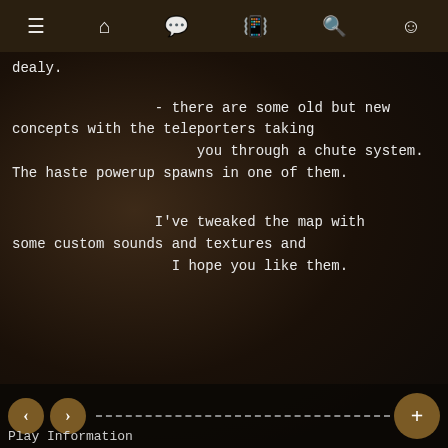≡  🏠  💬  📳  🔍  😊
dealy.

- there are some old but new concepts with the teleporters taking you through a chute system. The haste powerup spawns in one of them.

I've tweaked the map with some custom sounds and textures and I hope you like them.
< > [dashed line] + Play Information